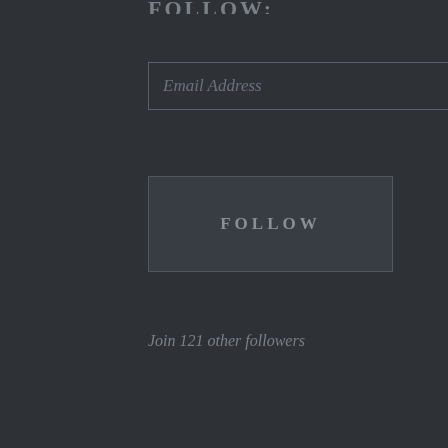FOLLOW:
Email Address
FOLLOW
Join 121 other followers
SOCIAL
[Figure (other): Facebook and Twitter social icons]
BLOGROLL
https://www.fairshake.net/